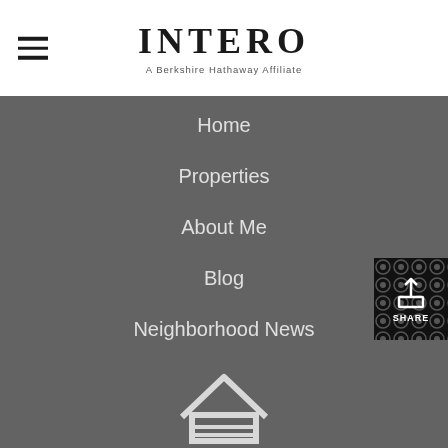INTERO — A Berkshire Hathaway Affiliate
Home
Properties
About Me
Blog
Neighborhood News
[Figure (logo): House/equal housing icon at bottom center]
[Figure (other): Share button with upload icon and decorative pattern background]